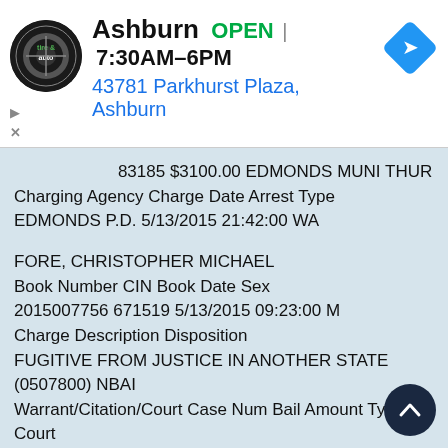[Figure (logo): Virginia Tire & Auto circular logo in black]
Ashburn  OPEN  7:30AM–6PM
43781 Parkhurst Plaza, Ashburn
...83185 $3100.00 EDMONDS MUNI THUR
Charging Agency Charge Date Arrest Type
EDMONDS P.D. 5/13/2015 21:42:00 WA
FORE, CHRISTOPHER MICHAEL
Book Number CIN Book Date Sex
2015007756 671519 5/13/2015 09:23:00 M
Charge Description Disposition
FUGITIVE FROM JUSTICE IN ANOTHER STATE
(0507800) NBAI
Warrant/Citation/Court Case Num Bail Amount Type Court
151010861 $0 SP CT VIDEO – M – THURS
Charging Agency Charge Date Arrest Type
EVERETT P.D. 5/13/2015 09:23:00 PC